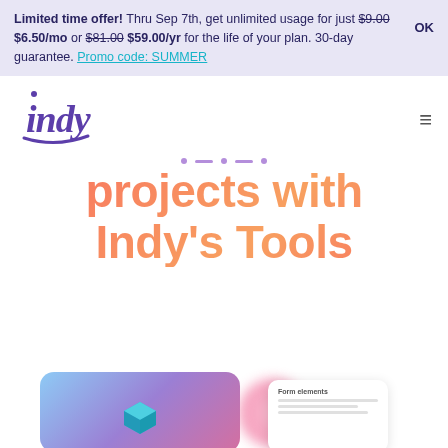Limited time offer! Thru Sep 7th, get unlimited usage for just $9.00 $6.50/mo or $81.00 $59.00/yr for the life of your plan. 30-day guarantee. Promo code: SUMMER
[Figure (logo): Indy brand logo in purple cursive script]
projects with Indy's Tools
[Figure (screenshot): Purple gradient card with 3D cube icon, and a white card labeled Form elements partially visible at bottom of page]